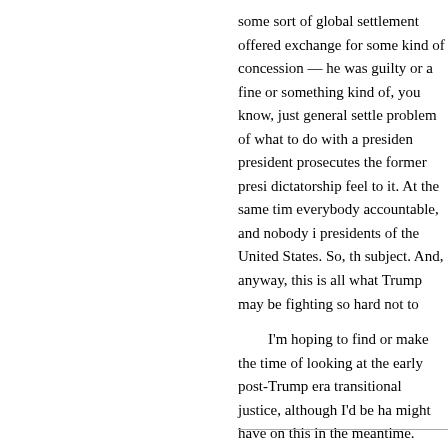some sort of global settlement offered exchange for some kind of concession — he was guilty or a fine or something kind of, you know, just general settle problem of what to do with a presiden president prosecutes the former presi dictatorship feel to it. At the same tim everybody accountable, and nobody i presidents of the United States. So, th subject. And, anyway, this is all what Trump may be fighting so hard not to
I'm hoping to find or make the time of looking at the early post-Trump era transitional justice, although I'd be ha might have on this in the meantime.